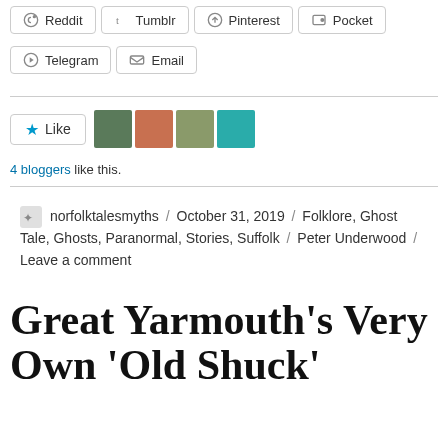Reddit
Tumblr
Pinterest
Pocket
Telegram
Email
[Figure (other): Like button with star icon and four blogger avatar thumbnails]
4 bloggers like this.
norfolktalesmyths / October 31, 2019 / Folklore, Ghost Tale, Ghosts, Paranormal, Stories, Suffolk / Peter Underwood / Leave a comment
Great Yarmouth's Very Own 'Old Shuck'